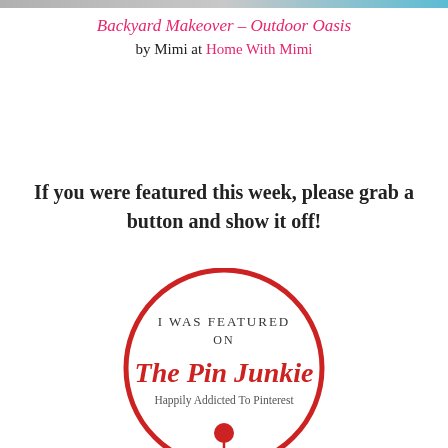Backyard Makeover – Outdoor Oasis by Mimi at Home With Mimi
If you were featured this week, please grab a button and show it off!
[Figure (logo): Circular badge logo: 'I WAS FEATURED ON The Pin Junkie Happily Addicted To Pinterest' with a red pin icon at the bottom, red circle border]